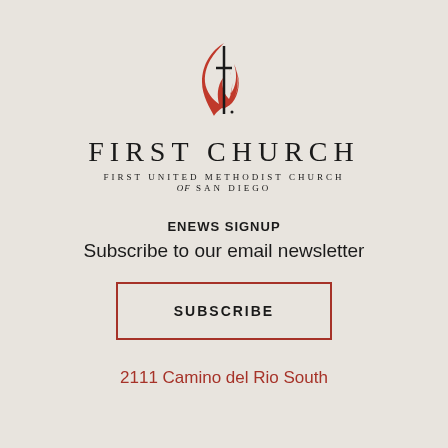[Figure (logo): United Methodist Church flame and cross logo — red stylized flame on left with black cross overlaid, small registration mark at bottom right of cross]
FIRST CHURCH
FIRST UNITED METHODIST CHURCH of SAN DIEGO
ENEWS SIGNUP
Subscribe to our email newsletter
SUBSCRIBE
2111 Camino del Rio South